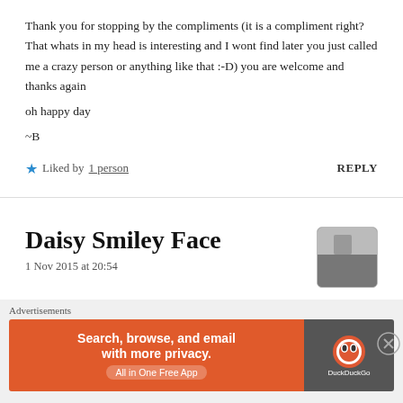Thank you for stopping by the compliments (it is a compliment right? That whats in my head is interesting and I wont find later you just called me a crazy person or anything like that :-D) you are welcome and thanks again
oh happy day
~B
Liked by 1 person    REPLY
Daisy Smiley Face
1 Nov 2015 at 20:54
Of course it's a compliment. Of course you're crazy, but a writer kind of crazy, like me. It's the best kind. 🙂
Advertisements
[Figure (screenshot): DuckDuckGo advertisement banner: orange left panel with text 'Search, browse, and email with more privacy. All in One Free App', dark right panel with DuckDuckGo logo]